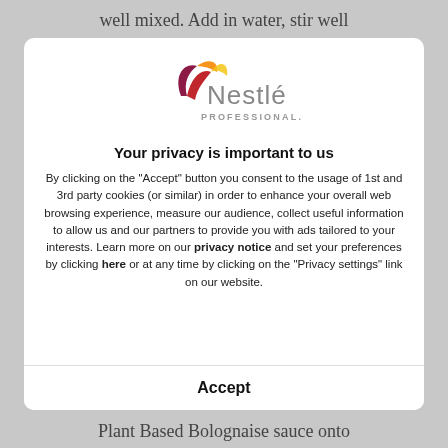well mixed. Add in water, stir well
[Figure (logo): Nestlé Professional logo with swoosh icon in red, maroon, and yellow/orange above grey text 'Nestlé PROFESSIONAL.']
Your privacy is important to us
By clicking on the "Accept" button you consent to the usage of 1st and 3rd party cookies (or similar) in order to enhance your overall web browsing experience, measure our audience, collect useful information to allow us and our partners to provide you with ads tailored to your interests. Learn more on our privacy notice and set your preferences by clicking here or at any time by clicking on the "Privacy settings" link on our website.
Accept
Plant Based Bolognaise sauce onto